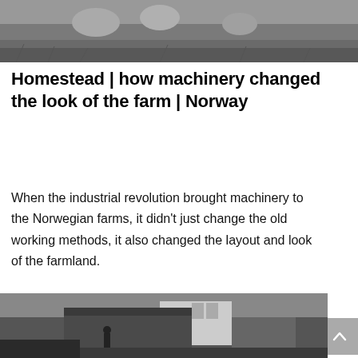[Figure (photo): Black and white photograph showing rocks and grass on a farm landscape, partially cropped at the top of the page.]
Homestead | how machinery changed the look of the farm | Norway
When the industrial revolution brought machinery to the Norwegian farms, it didn't just change the old working methods, it also changed the layout and look of the farmland.
[Figure (photo): Black and white photograph of a traditional Norwegian farm building with sod roof, wooden structures, and a person standing near a well or water feature.]